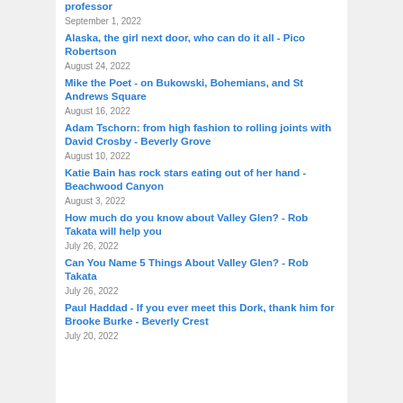professor
September 1, 2022
Alaska, the girl next door, who can do it all - Pico Robertson
August 24, 2022
Mike the Poet - on Bukowski, Bohemians, and St Andrews Square
August 16, 2022
Adam Tschorn: from high fashion to rolling joints with David Crosby - Beverly Grove
August 10, 2022
Katie Bain has rock stars eating out of her hand - Beachwood Canyon
August 3, 2022
How much do you know about Valley Glen? - Rob Takata will help you
July 26, 2022
Can You Name 5 Things About Valley Glen? - Rob Takata
July 26, 2022
Paul Haddad - If you ever meet this Dork, thank him for Brooke Burke - Beverly Crest
July 20, 2022